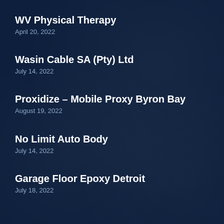WV Physical Therapy
April 20, 2022
Wasin Cable SA (Pty) Ltd
July 14, 2022
Proxidize – Mobile Proxy Byron Bay
August 19, 2022
No Limit Auto Body
July 14, 2022
Garage Floor Epoxy Detroit
July 18, 2022